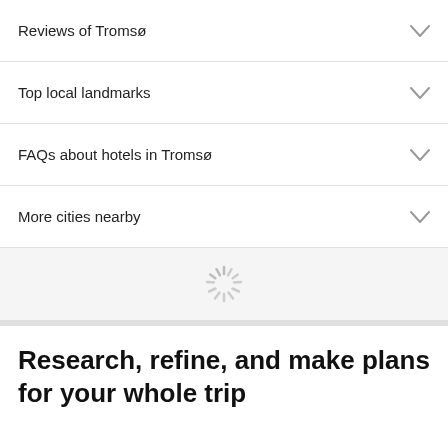Reviews of Tromsø
Top local landmarks
FAQs about hotels in Tromsø
More cities nearby
[Figure (other): Loading spinner icon]
Research, refine, and make plans for your whole trip